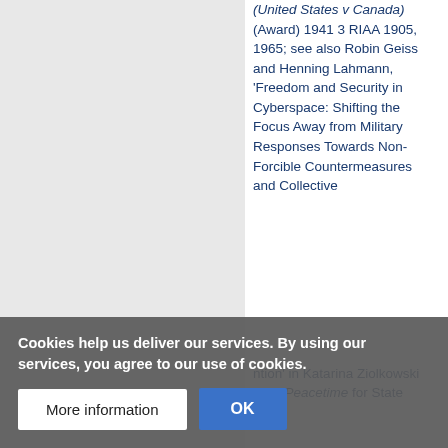(United States v Canada) (Award) 1941 3 RIAA 1905, 1965; see also Robin Geiss and Henning Lahmann, 'Freedom and Security in Cyberspace: Shifting the Focus Away from Military Responses Towards Non-Forcible Countermeasures and Collective
Cookies help us deliver our services. By using our services, you agree to our use of cookies.
More information
OK
ntion' in Katarina Ziolkowski (ed), Peacetime for State